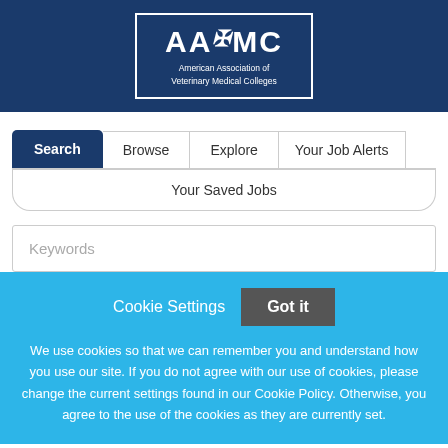[Figure (logo): AAVMC logo - American Association of Veterinary Medical Colleges, white text on dark navy blue background with caduceus symbol]
Search | Browse | Explore | Your Job Alerts
Your Saved Jobs
Keywords
Cookie Settings
Got it
We use cookies so that we can remember you and understand how you use our site. If you do not agree with our use of cookies, please change the current settings found in our Cookie Policy. Otherwise, you agree to the use of the cookies as they are currently set.